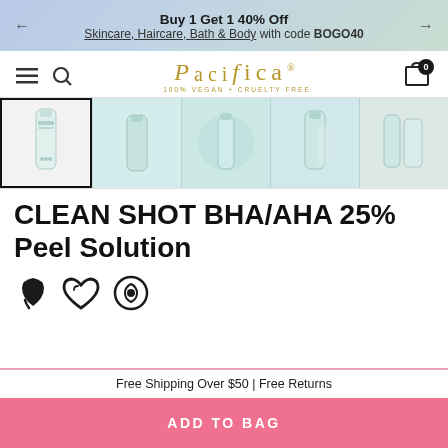Buy 1 Get 1 40% Off
Skincare, Haircare, Bath & Body with code BOGO40
[Figure (screenshot): Pacifica logo with 100% VEGAN + CRUELTY FREE tagline, navigation bar with hamburger, search, and cart icons]
[Figure (photo): Row of 5 product thumbnail images showing Clean Shot BHA/AHA 25% Peel Solution bottle from various angles]
CLEAN SHOT BHA/AHA 25% Peel Solution
[Figure (illustration): Three icons: leaf (vegan), heart (cruelty-free), recycle/care symbol]
Free Shipping Over $50 | Free Returns
ADD TO BAG